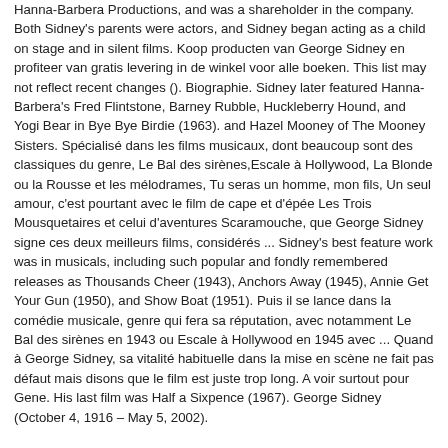Hanna-Barbera Productions, and was a shareholder in the company. Both Sidney's parents were actors, and Sidney began acting as a child on stage and in silent films. Koop producten van George Sidney en profiteer van gratis levering in de winkel voor alle boeken. This list may not reflect recent changes (). Biographie. Sidney later featured Hanna-Barbera's Fred Flintstone, Barney Rubble, Huckleberry Hound, and Yogi Bear in Bye Bye Birdie (1963). and Hazel Mooney of The Mooney Sisters. Spécialisé dans les films musicaux, dont beaucoup sont des classiques du genre, Le Bal des sirènes,Escale à Hollywood, La Blonde ou la Rousse et les mélodrames, Tu seras un homme, mon fils, Un seul amour, c'est pourtant avec le film de cape et d'épée Les Trois Mousquetaires et celui d'aventures Scaramouche, que George Sidney signe ces deux meilleurs films, considérés ... Sidney's best feature work was in musicals, including such popular and fondly remembered releases as Thousands Cheer (1943), Anchors Away (1945), Annie Get Your Gun (1950), and Show Boat (1951). Puis il se lance dans la comédie musicale, genre qui fera sa réputation, avec notamment Le Bal des sirènes en 1943 ou Escale à Hollywood en 1945 avec ... Quand à George Sidney, sa vitalité habituelle dans la mise en scène ne fait pas défaut mais disons que le film est juste trop long. A voir surtout pour Gene. His last film was Half a Sixpence (1967). George Sidney (October 4, 1916 – May 5, 2002).